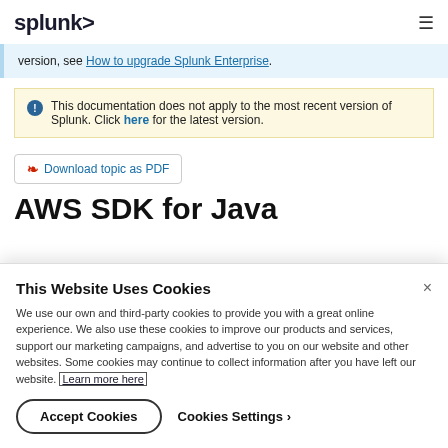splunk>
version, see How to upgrade Splunk Enterprise.
This documentation does not apply to the most recent version of Splunk. Click here for the latest version.
Download topic as PDF
AWS SDK for Java
This Website Uses Cookies
We use our own and third-party cookies to provide you with a great online experience. We also use these cookies to improve our products and services, support our marketing campaigns, and advertise to you on our website and other websites. Some cookies may continue to collect information after you have left our website. Learn more here
Accept Cookies
Cookies Settings ›